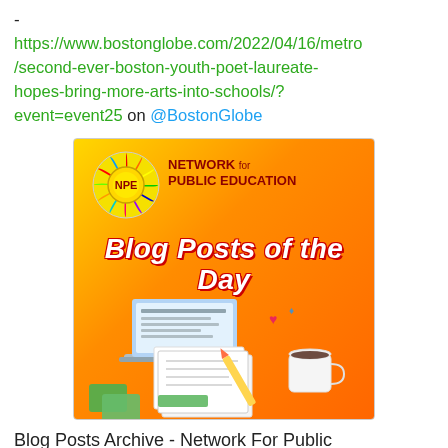-
https://www.bostonglobe.com/2022/04/16/metro/second-ever-boston-youth-poet-laureate-hopes-bring-more-arts-into-schools/?event=event25 on @BostonGlobe
[Figure (illustration): Network for Public Education 'Blog Posts of the Day' promotional image with NPE logo, laptop, papers, coffee cup on orange/yellow gradient background]
Blog Posts Archive - Network For Public